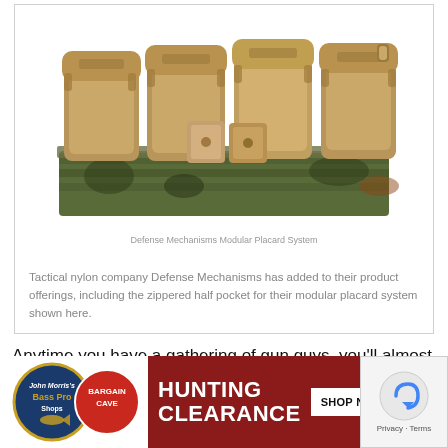[Figure (photo): Photograph of a tactical modular chest rig/placard system by Defense Mechanisms, showing four tan/coyote colored magazine holders with rubberized tops arranged in a row, with camouflage MOLLE webbing below and two additional smaller pouches in the center. The system features a zippered half pocket.]
Tactical nylon company Defense Mechanisms has added to their product offerings, including the zippered half pocket for their modular placard system shown here.
Anytime you have a gathering of gun guys, you'll almost cer... find that ... along wit... includes ... ches,
[Figure (infographic): Advertisement banner for Bass Pro Shops Hunting Clearance Bargain Cave with 'SHOP NOW' call-to-action button on a dark red background.]